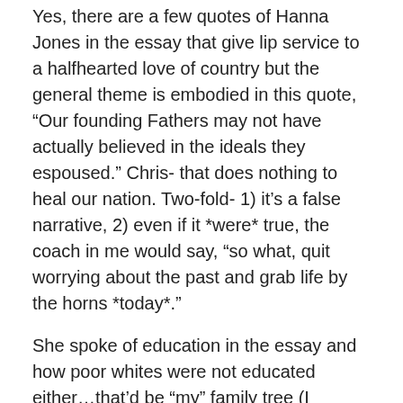Yes, there are a few quotes of Hanna Jones in the essay that give lip service to a halfhearted love of country but the general theme is embodied in this quote, “Our founding Fathers may not have actually believed in the ideals they espoused.” Chris- that does nothing to heal our nation. Two-fold- 1) it’s a false narrative, 2) even if it *were* true, the coach in me would say, “so what, quit worrying about the past and grab life by the horns *today*.”
She spoke of education in the essay and how poor whites were not educated either…that’d be “my” family tree (I certainly don’t come from rich plantation owner heritage). So what!?!? Me being jealous because someone else’s grandparents had a better education than mine does nothing to inspire me to continue pursuing excellence- it just makes me want to feel sorry for my lot in life.
Falsely pushing the idea that the system is rigged does a...